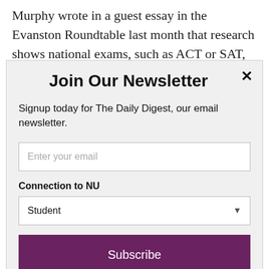Murphy wrote in a guest essay in the Evanston Roundtable last month that research shows national exams, such as ACT or SAT, often underpredict success for African Americans.
Join Our Newsletter
Signup today for The Daily Digest, our email newsletter.
Enter your email
Connection to NU
Student
Subscribe
powered by MailMunch